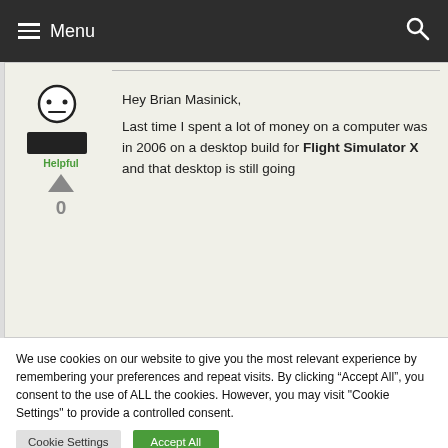Menu
[Figure (illustration): Generic user avatar icon: simple face with eyes and a rectangular body/base, black and white]
Helpful
0
Hey Brian Masinick,
Last time I spent a lot of money on a computer was in 2006 on a desktop build for Flight Simulator X and that desktop is still going
We use cookies on our website to give you the most relevant experience by remembering your preferences and repeat visits. By clicking “Accept All”, you consent to the use of ALL the cookies. However, you may visit "Cookie Settings" to provide a controlled consent.
Cookie Settings
Accept All